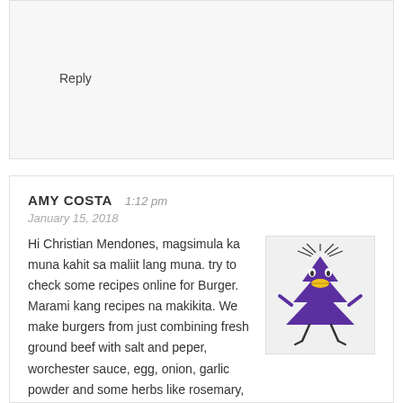Reply
AMY COSTA   1:12 pm
January 15, 2018
Hi Christian Mendones, magsimula ka muna kahit sa maliit lang muna. try to check some recipes online for Burger. Marami kang recipes na makikita. We make burgers from just combining fresh ground beef with salt and peper, worchester sauce, egg, onion, garlic powder and some herbs like rosemary, basil, parsley, oregano. Then you can grill them or fry, add cheese. Sa french fries naman, get potatoes, cut them into strips, then put them in water for a little bit and let them soak, then dry the potatoes and then deep fry them. Then season them when they're done.
[Figure (illustration): Cartoon purple Christmas tree character with yellow mustache and legs, on light gray background]